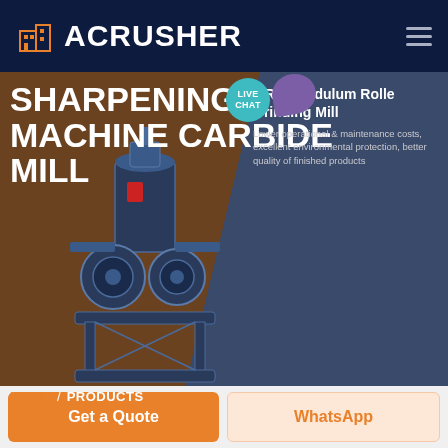ACRUSHER
SHARPENING MACHINE CARBIDE MILL
MRN Pendulum Roller Grinding Mill
Lower operational & maintenance costs, excellent environmental protection, better quality of finished products
LIVE CHAT
HOME / PRODUCTS
[Figure (illustration): Industrial sharpening/grinding machine — carbide mill equipment rendered in blue-gray tones]
Get a Quote
WhatsApp